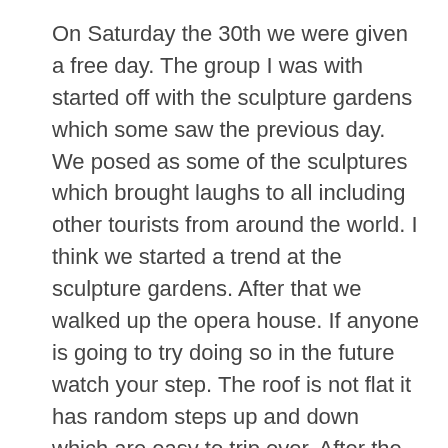On Saturday the 30th we were given a free day. The group I was with started off with the sculpture gardens which some saw the previous day. We posed as some of the sculptures which brought laughs to all including other tourists from around the world. I think we started a trend at the sculpture gardens. After that we walked up the opera house. If anyone is going to try doing so in the future watch your step. The roof is not flat it has random steps up and down which are easy to trip over. After the opera house we walked to a church that when we got there we found that it was under construction. It seems that all of Scandinavia is under construction sometimes. After that we went to the parliament building and ate lunch across from the building. Then we went to the royal palace and watched the changing of the guards. We learned that they do a funny little penguin shuffle to get the proper distance between each other but I need to keep on. Afte